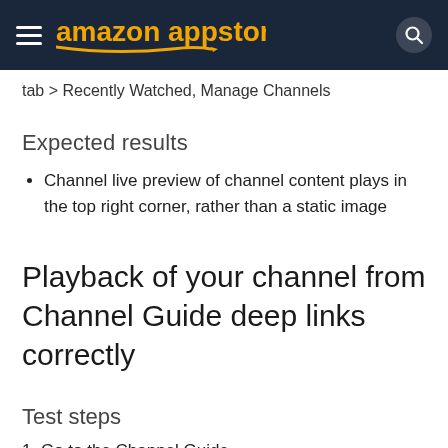amazon appstore
tab > Recently Watched, Manage Channels
Expected results
Channel live preview of channel content plays in the top right corner, rather than a static image
Playback of your channel from Channel Guide deep links correctly
Test steps
1. Go to the Channel Guide...